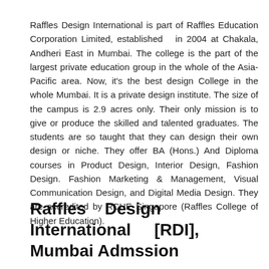Raffles Design International is part of Raffles Education Corporation Limited, established in 2004 at Chakala, Andheri East in Mumbai. The college is the part of the largest private education group in the whole of the Asia-Pacific area. Now, it's the best design College in the whole Mumbai. It is a private design institute. The size of the campus is 2.9 acres only. Their only mission is to give or produce the skilled and talented graduates. The students are so taught that they can design their own design or niche. They offer BA (Hons.) And Diploma courses in Product Design, Interior Design, Fashion Design. Fashion Marketing & Management, Visual Communication Design, and Digital Media Design. They are accredited by RCHE Singapore (Raffles College of Higher Education).
Raffles Design International [RDI], Mumbai Admssion